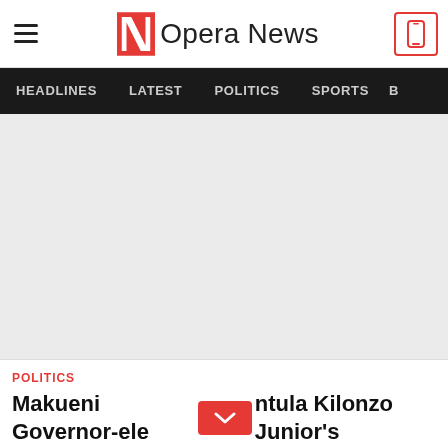Opera News
HEADLINES  LATEST  POLITICS  SPORTS  B
[Figure (photo): Light grey placeholder image area for article photo]
POLITICS
Makueni Governor-ele[chevron]ntula Kilonzo Junior's